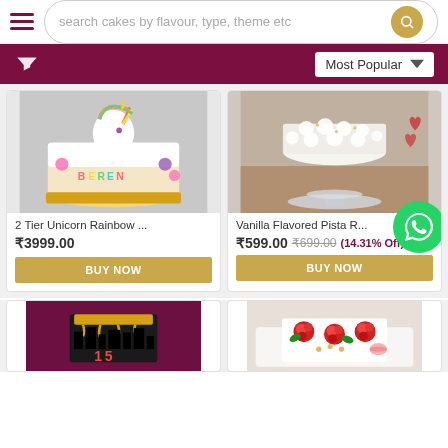search cakes by flavour, type, theme etc
Most Popular
[Figure (photo): 2 Tier Unicorn Rainbow cake with colorful unicorn figurine and floral decorations, with name BEREN on base]
2 Tier Unicorn Rainbow ...
₹3999.00
BUY NOW
[Figure (photo): Vanilla Flavored Pista cake with white cream rosettes on a glass stand]
Vanilla Flavored Pista R...
₹599.00  ₹699.00 (14.31% Off)
BUY NOW
[Figure (photo): Dark themed birthday cake with city skyline drip design, number 15 decoration, partially visible]
[Figure (photo): Elegant white cake with red roses decoration, partially visible]